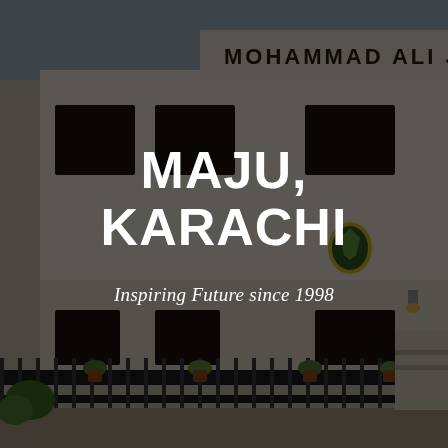[Figure (photo): Exterior facade of Mohammad Ali Jinnah University building in Karachi, showing a two-storey white building with dark windows, a university crest/shield logo on the wall, iron fence with gate in the foreground, and potted plants along the fence. The building has a signboard reading MOHAMMAD ALI JINNAH UNIV... at the top. The photo is darkened with a semi-transparent overlay.]
MAJU, KARACHI
Inspiring Future since 1998